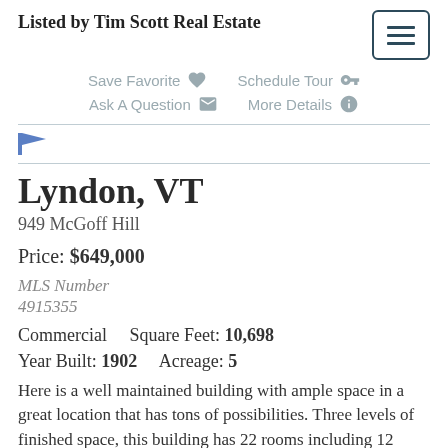Listed by Tim Scott Real Estate
Save Favorite   Schedule Tour
Ask A Question   More Details
Lyndon, VT
949 McGoff Hill
Price: $649,000
MLS Number
4915355
Commercial    Square Feet: 10,698
Year Built: 1902    Acreage: 5
Here is a well maintained building with ample space in a great location that has tons of possibilities. Three levels of finished space, this building has 22 rooms including 12 rooms that could